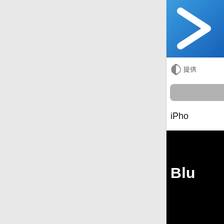[Figure (screenshot): Left portion is a large light gray background area, likely a scrolled page or app background. The right side shows a partial app store or app detail view: a blue app icon with a white chevron/arrow pointing right at top, a watch icon with Chinese text '提供' (provide), a gray button, an 'iPho' label (iPhone truncated), and a black screenshot panel showing 'Blu' text in white (truncated).]